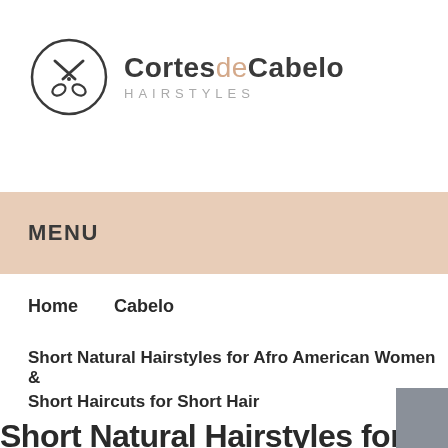[Figure (logo): CortesdeCabelo Hairstyles logo — circle with scissors icon and brand name]
MENU
Home    Cabelo
Short Natural Hairstyles for Afro American Women &
Short Haircuts for Short Hair
Short Natural Hairstyles for